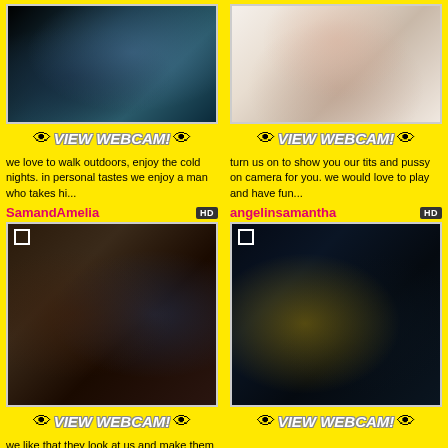[Figure (photo): Top-left webcam thumbnail photo of person outdoors]
VIEW WEBCAM!
we love to walk outdoors, enjoy the cold nights. in personal tastes we enjoy a man who takes hi...
[Figure (photo): Top-right webcam thumbnail photo of red-haired person in black top]
VIEW WEBCAM!
turn us on to show you our tits and pussy on camera for you. we would love to play and have fun...
SamandAmelia
[Figure (photo): Mid-left webcam thumbnail of couple, woman in fishnet and man in suit]
VIEW WEBCAM!
we like that they look at us and make them hot! while we do all the things
angelinsamantha
[Figure (photo): Mid-right webcam thumbnail of two young women, one in yellow outfit]